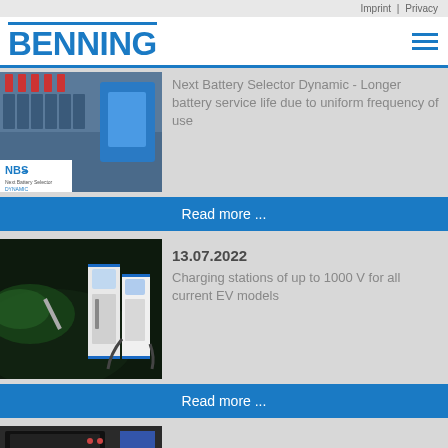Imprint | Privacy
[Figure (logo): BENNING company logo in blue bold letters with blue horizontal line above, and hamburger menu icon on the right]
[Figure (photo): Industrial battery charging installation with NBS Dynamic logo overlay]
Next Battery Selector Dynamic - Longer battery service life due to uniform frequency of use
Read more ...
[Figure (photo): Electric vehicle charging stations, showing two charger units with cables]
13.07.2022
Charging stations of up to 1000 V for all current EV models
Read more ...
[Figure (photo): Partial view of another product image at bottom]
07.07.2022